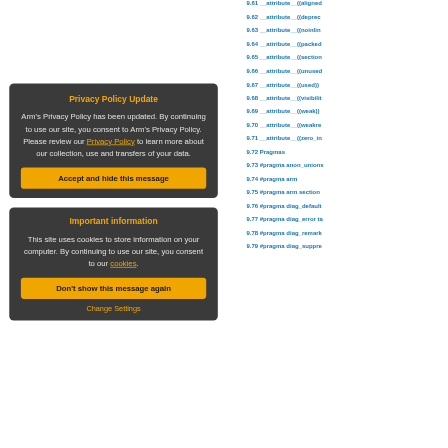9.61 __attribute__((aligned
9.62 __attribute__((deprec
9.63 __attribute__((noinlin
9.64 __attribute__((packed
9.65 __attribute__((section
9.66 __attribute__((unused
9.67 __attribute__((used))
9.68 __attribute__((visibilit
9.69 __attribute__((weak))
9.70 __attribute__((weakre
9.71 __attribute__((zero_in
9.72 Pragmas
9.73 #pragma anon_unions
9.74 #pragma arm
9.75 #pragma arm section
9.76 #pragma diag_default
9.77 #pragma diag_error ta
9.78 #pragma diag_remark
9.79 #pragma diag_suppre
Privacy Policy Update
Arm's Privacy Policy has been updated. By continuing to use our site, you consent to Arm's Privacy Policy. Please review our Privacy Policy to learn more about our collection, use and transfers of your data.
Accept and hide this message
Important information
This site uses cookies to store information on your computer. By continuing to use our site, you consent to our cookies.
Don't show this message again
Change Settings